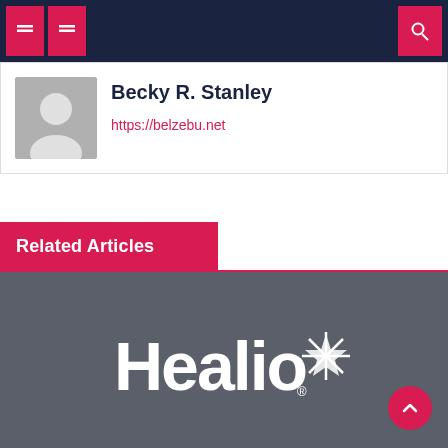Navigation bar with menu and search icons
Becky R. Stanley
https://belzebu.net
Related Articles
[Figure (logo): Healio logo (white text with star icon) on dark gray background]